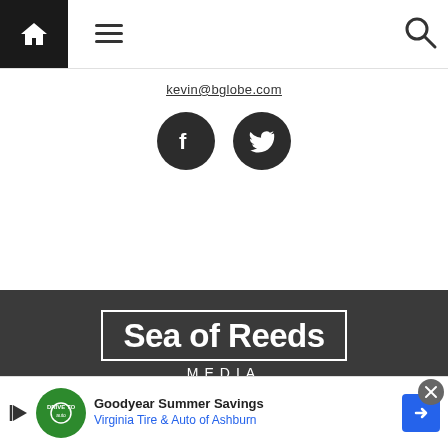Navigation bar with home, menu, and search icons
kevin@bglobe.com
[Figure (other): Facebook and Twitter social media icons (dark circular buttons)]
[Figure (logo): Sea of Reeds MEDIA logo — white text on dark background with rectangular border]
ABOUT US
ADVERTISE WITH US
[Figure (other): Goodyear Summer Savings advertisement — Virginia Tire & Auto of Ashburn]